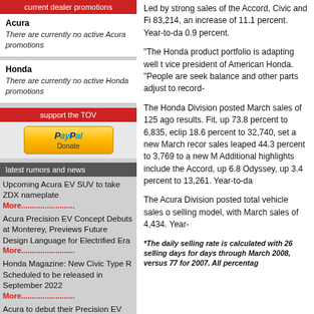current dealer promotions
Acura
There are currently no active Acura promotions
Honda
There are currently no active Honda promotions
support the TOV
[Figure (logo): PayPal Donate button]
latest rumors and news
Upcoming Acura EV SUV to take ZDX nameplate
More..........................
Acura Precision EV Concept Debuts at Monterey, Previews Future Design Language for Electrified Era
More..........................
Honda Magazine: New Civic Type R Scheduled to be released in September 2022
More..........................
Acura to debut their Precision EV Concept at Monterey Car Week
More..........................
Honda "teases" the new 2023
Led by strong sales of the Accord, Civic and Fi 83,214, an increase of 11.1 percent. Year-to-da 0.9 percent.
"The Honda product portfolio is adapting well to vice president of American Honda. "People are seek balance and other parts adjust to record-
The Honda Division posted March sales of 125 ago results. Fit, up 73.8 percent to 6,835, eclip 18.6 percent to 32,740, set a new March recor sales leaped 44.3 percent to 3,769 to a new M Additional highlights include the Accord, up 6.8 Odyssey, up 3.4 percent to 13,261. Year-to-da
The Acura Division posted total vehicle sales o selling model, with March sales of 4,434. Year-
*The daily selling rate is calculated with 26 selling days for days through March 2008, versus 77 for 2007. All percentag